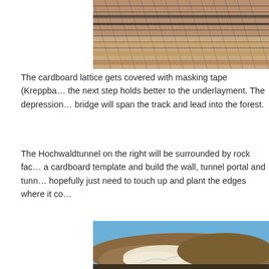[Figure (photo): Cardboard lattice structure with masking tape covering the tracks and model railway elements]
The cardboard lattice gets covered with masking tape (Kreppba... the next step holds better to the underlayment. The depression... bridge will span the track and lead into the forest.
The Hochwaldtunnel on the right will be surrounded by rock fac... a cardboard template and build the wall, tunnel portal and tunn... hopefully just need to touch up and plant the edges where it co...
[Figure (photo): Model railway scenery showing tunnel and rock face construction with cardboard and plaster, blue background visible]